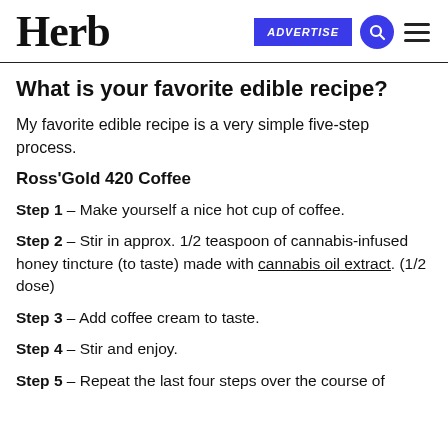Herb | ADVERTISE
What is your favorite edible recipe?
My favorite edible recipe is a very simple five-step process.
Ross'Gold 420 Coffee
Step 1 – Make yourself a nice hot cup of coffee.
Step 2 – Stir in approx. 1/2 teaspoon of cannabis-infused honey tincture (to taste) made with cannabis oil extract. (1/2 dose)
Step 3 – Add coffee cream to taste.
Step 4 – Stir and enjoy.
Step 5 – Repeat the last four steps over the course of